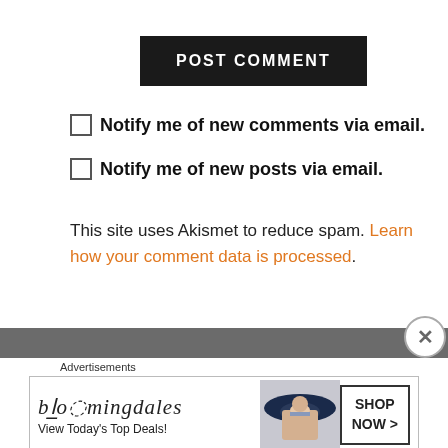POST COMMENT
Notify me of new comments via email.
Notify me of new posts via email.
This site uses Akismet to reduce spam. Learn how your comment data is processed.
[Figure (screenshot): Gray footer bar area]
Advertisements
[Figure (screenshot): Bloomingdale's advertisement banner: bloomingdales logo, View Today's Top Deals!, woman with hat, SHOP NOW >]